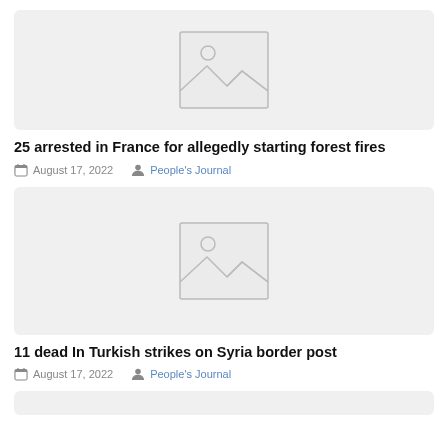[Figure (photo): Placeholder image card with mountain/landscape icon]
25 arrested in France for allegedly starting forest fires
August 17, 2022  People's Journal
[Figure (photo): Placeholder image card with mountain/landscape icon]
11 dead In Turkish strikes on Syria border post
August 17, 2022  People's Journal
[Figure (photo): Placeholder image card (partial, bottom of page)]